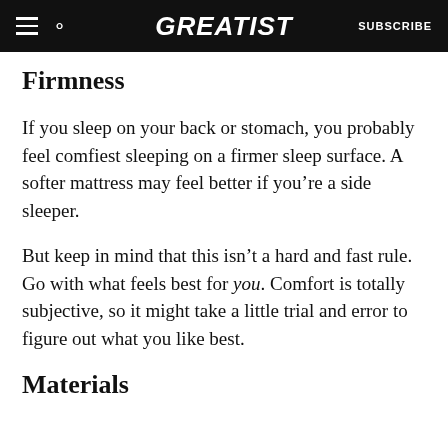GREATIST  SUBSCRIBE
Firmness
If you sleep on your back or stomach, you probably feel comfiest sleeping on a firmer sleep surface. A softer mattress may feel better if you’re a side sleeper.
But keep in mind that this isn’t a hard and fast rule. Go with what feels best for you. Comfort is totally subjective, so it might take a little trial and error to figure out what you like best.
Materials